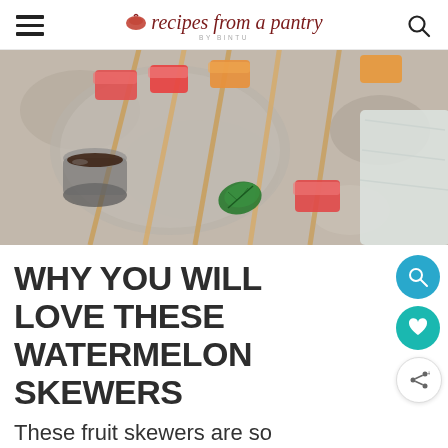recipes from a pantry BY BINTU
[Figure (photo): Top-down view of colorful fruit skewers (watermelon, cantaloupe pieces) on a plate with a small glass of dark sauce and a green basil leaf, on a grey stone surface with a light cloth.]
WHY YOU WILL LOVE THESE WATERMELON SKEWERS
These fruit skewers are so